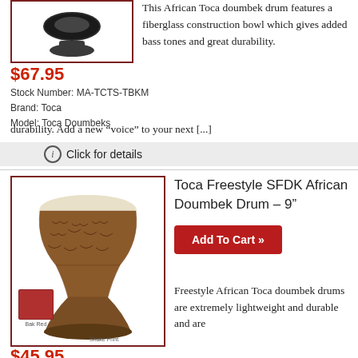[Figure (photo): Toca African doumbek drum product photo, dark colored drum on stand, top view, shown in product listing image with dark red border]
This African Toca doumbek drum features a fiberglass construction bowl which gives added bass tones and great durability. Add a new “voice” to your next [...]
$67.95
Stock Number: MA-TCTS-TBKM
Brand: Toca
Model: Toca Doumbeks
ⓘ Click for details
[Figure (photo): Toca Freestyle SFDK African Doumbek Drum – 9 inch product photo showing a tall goblet shaped drum with snake print pattern body and white drum head. Small inset shows Bak Red color variant. Labels read 'Bak Red' and 'Snake Print'. Dark red border around image.]
Toca Freestyle SFDK African Doumbek Drum – 9"
Add To Cart »
Freestyle African Toca doumbek drums are extremely lightweight and durable and are
$45.95
Stock Number: MA-TCSFDK
Brand: Toca